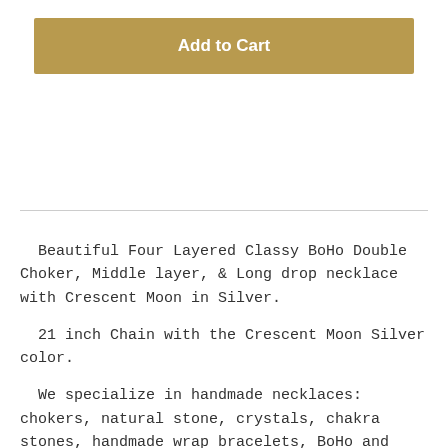Add to Cart
Beautiful Four Layered Classy BoHo Double Choker, Middle layer, & Long drop necklace with Crescent Moon in Silver.
21 inch Chain with the Crescent Moon Silver color.
We specialize in handmade necklaces: chokers, natural stone, crystals, chakra stones, handmade wrap bracelets, BoHo and vintage style pendants, as well as unique